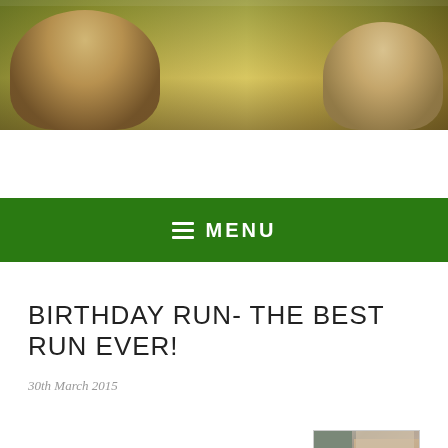[Figure (photo): Outdoor banner/header photo showing people running or walking in a park with trees and sunlight]
≡ MENU
BIRTHDAY RUN- THE BEST RUN EVER!
30th March 2015
I love my
[Figure (photo): Small photo showing a building exterior with brick wall]